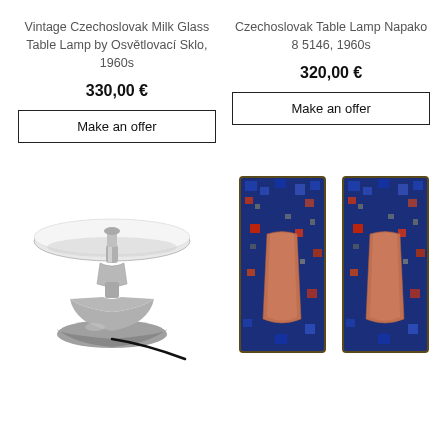Vintage Czechoslovak Milk Glass Table Lamp by Osvětlovací Sklo, 1960s
330,00 €
Make an offer
Czechoslovak Table Lamp Napako 8 5146, 1960s
320,00 €
Make an offer
[Figure (photo): A vintage Czechoslovak chrome mushroom-style table lamp with a flat white glass shade on a chrome pedestal base, 1960s]
[Figure (photo): Two rectangular Czechoslovak decorative wall tiles with blue mosaic background and copper/salmon colored oval shapes, 1960s]